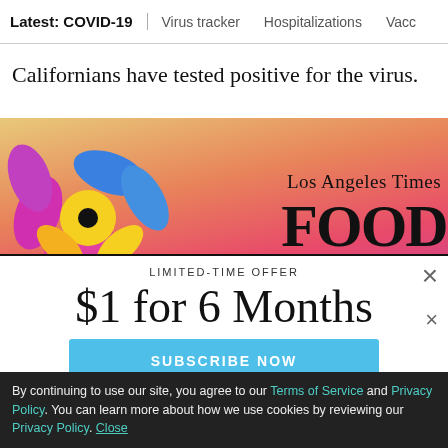Latest: COVID-19 | Virus tracker | Hospitalizations | Vacc
Californians have tested positive for the virus.
[Figure (illustration): Los Angeles Times Food advertisement banner with colorful flower illustration on left and disco ball on right, on gradient pink-gold background]
LIMITED-TIME OFFER
$1 for 6 Months
SUBSCRIBE NOW
By continuing to use our site, you agree to our Terms of Service and Privacy Policy. You can learn more about how we use cookies by reviewing our Privacy Policy. Close